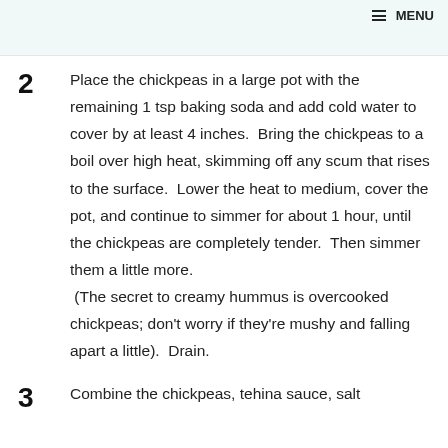≡ MENU
Place the chickpeas in a large pot with the remaining 1 tsp baking soda and add cold water to cover by at least 4 inches.  Bring the chickpeas to a boil over high heat, skimming off any scum that rises to the surface.  Lower the heat to medium, cover the pot, and continue to simmer for about 1 hour, until the chickpeas are completely tender.  Then simmer them a little more.  (The secret to creamy hummus is overcooked chickpeas; don't worry if they're mushy and falling apart a little).  Drain.
Combine the chickpeas, tehina sauce, salt